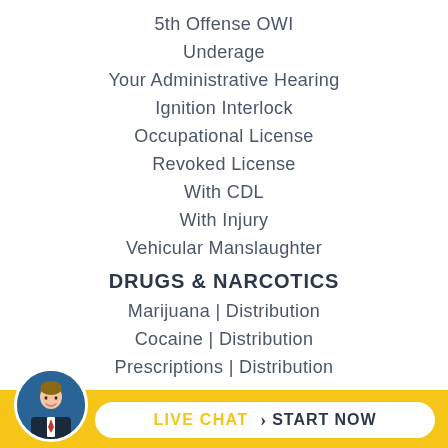5th Offense OWI
Underage
Your Administrative Hearing
Ignition Interlock
Occupational License
Revoked License
With CDL
With Injury
Vehicular Manslaughter
DRUGS & NARCOTICS
Marijuana | Distribution
Cocaine | Distribution
Prescriptions | Distribution
[Figure (photo): Headshot photo of a man in a suit, circular crop, on gold footer bar]
LIVE CHAT › START NOW